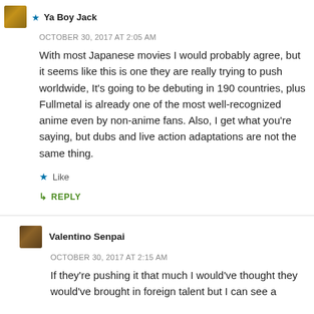Ya Boy Jack
OCTOBER 30, 2017 AT 2:05 AM
With most Japanese movies I would probably agree, but it seems like this is one they are really trying to push worldwide, It's going to be debuting in 190 countries, plus Fullmetal is already one of the most well-recognized anime even by non-anime fans. Also, I get what you're saying, but dubs and live action adaptations are not the same thing.
Like
REPLY
Valentino Senpai
OCTOBER 30, 2017 AT 2:15 AM
If they're pushing it that much I would've thought they would've brought in foreign talent but I can see a